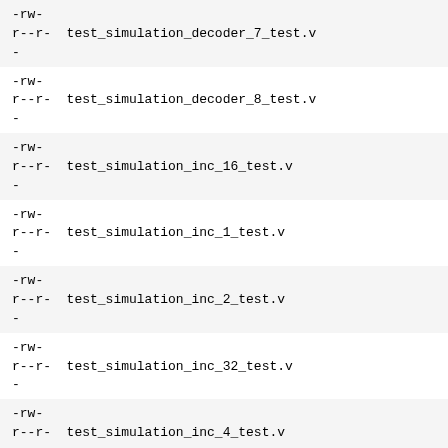-rw-r--r-  test_simulation_decoder_7_test.v
-
-rw-r--r-  test_simulation_decoder_8_test.v
-
-rw-r--r-  test_simulation_inc_16_test.v
-
-rw-r--r-  test_simulation_inc_1_test.v
-
-rw-r--r-  test_simulation_inc_2_test.v
-
-rw-r--r-  test_simulation_inc_32_test.v
-
-rw-r--r-  test_simulation_inc_4_test.v
-
-rw-r--r-  test_simulation_inc_8_test.v
-
-rw-r--r-  test_simulation_mod_1_xx.v
-
-rw-r--r-  test_simulation_mux_16_test.v